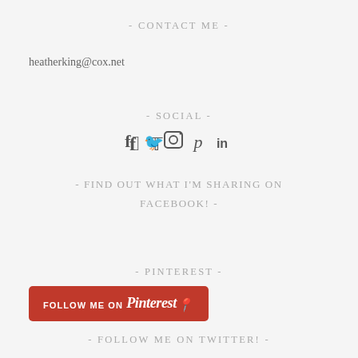- CONTACT ME -
heatherking@cox.net
- SOCIAL -
[Figure (other): Social media icons: Facebook, Twitter, Instagram, Pinterest, LinkedIn]
- FIND OUT WHAT I’M SHARING ON FACEBOOK! -
- PINTEREST -
[Figure (other): Follow me on Pinterest button - red rounded rectangle with white text]
- FOLLOW ME ON TWITTER! -